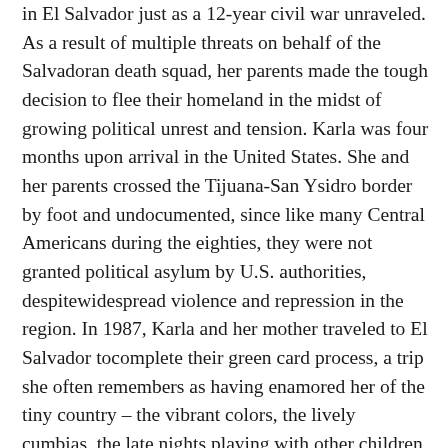in El Salvador just as a 12-year civil war unraveled. As a result of multiple threats on behalf of the Salvadoran death squad, her parents made the tough decision to flee their homeland in the midst of growing political unrest and tension. Karla was four months upon arrival in the United States. She and her parents crossed the Tijuana-San Ysidro border by foot and undocumented, since like many Central Americans during the eighties, they were not granted political asylum by U.S. authorities, despitewidespread violence and repression in the region. In 1987, Karla and her mother traveled to El Salvador tocomplete their green card process, a trip she often remembers as having enamored her of the tiny country – the vibrant colors, the lively cumbias, the late nights playing with other children in her beloved Jayaque. Visits to El Salvador thereafter further fomented her love for her roots and exploration of it. In addition, Karla is heavily involved in a variety of projects within her community. In 2019, she participated in the Hispanas